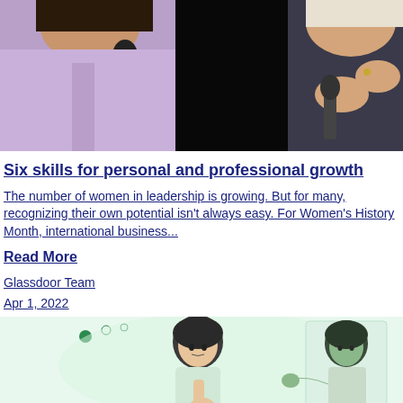[Figure (photo): Two women at a panel or conference, one in lavender blazer holding microphone, one in dark patterned top gesturing with hands, dark background with green elements]
Six skills for personal and professional growth
The number of women in leadership is growing. But for many, recognizing their own potential isn't always easy.  For Women's History Month, international business...
Read More
Glassdoor Team
Apr 1, 2022
[Figure (illustration): Illustrated cartoon figures: a person with dark hair thinking (hand on chin) with thought bubbles, and another person gesturing/presenting, on a light green background]